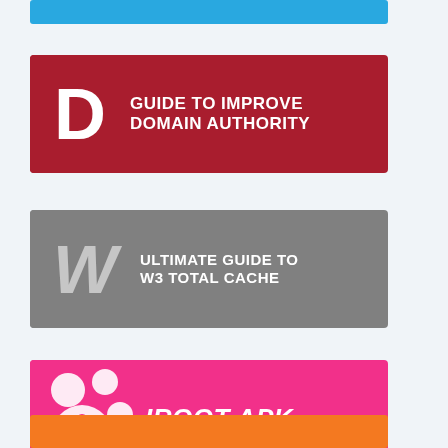[Figure (infographic): Blue banner bar (partially visible at top)]
[Figure (infographic): Red card with letter D and text: GUIDE TO IMPROVE DOMAIN AUTHORITY]
[Figure (infographic): Gray card with letter W and text: ULTIMATE GUIDE TO W3 TOTAL CACHE]
[Figure (infographic): Pink/magenta card with iRoot logo and text: iROOT APK]
[Figure (infographic): Orange banner bar (partially visible at bottom)]